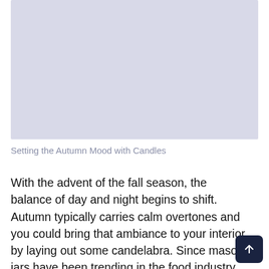[Figure (photo): Placeholder image with lavender/periwinkle background color, no visible content]
Setting the Autumn Mood with Candles
With the advent of the fall season, the balance of day and night begins to shift. Autumn typically carries calm overtones and you could bring that ambiance to your interior by laying out some candelabra. Since mason jars have been trending in the food industry and beyond,